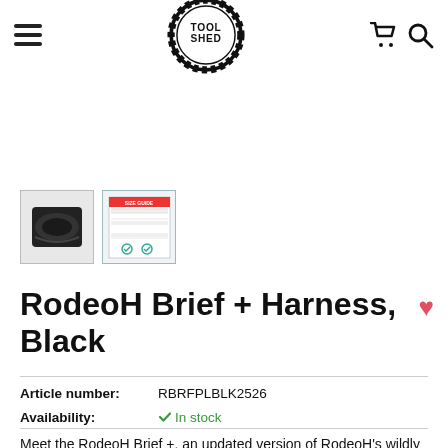Tool Shed — navigation header with hamburger menu, logo, cart and search icons
[Figure (photo): Thumbnail 1: black brief underwear product photo]
[Figure (photo): Thumbnail 2: size chart / product information sheet]
RodeoH Brief + Harness, Black
Article number: RBRFPLBLK2526
Availability: In stock
Meet the RodeoH Brief +, an updated version of RodeoH's wildly popular underwear-style brief strap-on harness! The original has been spruced up with dual density, double layer fabric and double lock stitching for added durability and longevity.